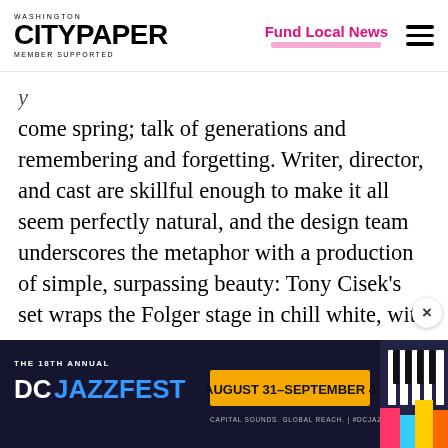Washington City Paper — Member Supported | Fund Local News
come spring; talk of generations and remembering and forgetting. Writer, director, and cast are skillful enough to make it all seem perfectly natural, and the design team underscores the metaphor with a production of simple, surpassing beauty: Tony Cisek's set wraps the Folger stage in chill white, with a scattering of unpainted canvases framed in warm wood, and Dan Covey fills the blank rectangles with washes of blue or green, or with
[Figure (infographic): DC Jazzfest advertisement banner: The 18th Annual DC Jazzfest, August 31–September 4, Capital Sounds. Global Reach. #DCJAZZFEST]